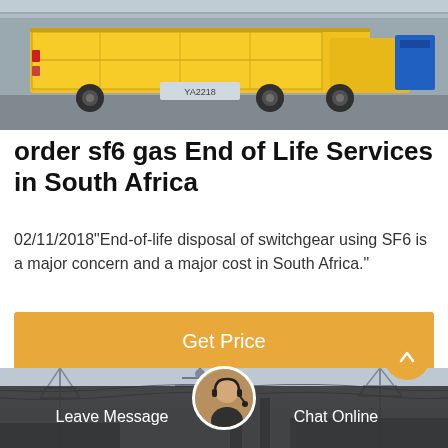[Figure (photo): Yellow truck or industrial vehicle with freight containers, seen from behind, in a loading/industrial area]
order sf6 gas End of Life Services in South Africa
02/11/2018"End-of-life disposal of switchgear using SF6 is a major concern and a major cost in South Africa."
[Figure (other): Get Price button - orange/amber colored call-to-action button]
[Figure (photo): Electrical transmission towers and power lines against a grey sky with industrial structures]
[Figure (other): Bottom navigation bar with Leave Message on left, customer service avatar in center, Chat Online on right, and scroll-up button]